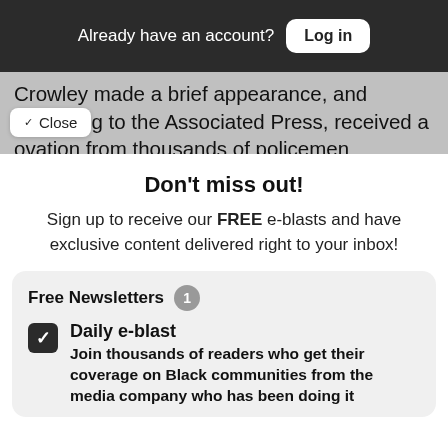Already have an account? Log in
Crowley made a brief appearance, and according to the Associated Press, received a ovation from thousands of policemen
✓ Close
Don't miss out!
Sign up to receive our FREE e-blasts and have exclusive content delivered right to your inbox!
Free Newsletters 1
Daily e-blast
Join thousands of readers who get their coverage on Black communities from the media company who has been doing it